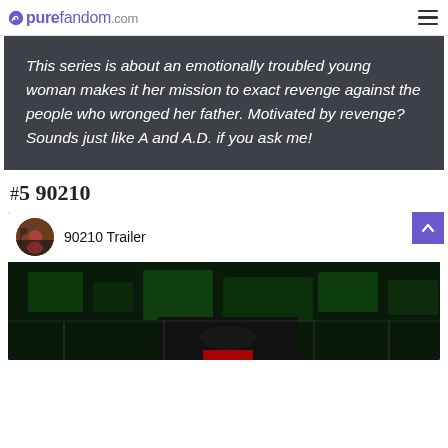purefandom.com
This series is about an emotionally troubled young woman makes it her mission to exact revenge against the people who wronged her father. Motivated by revenge? Sounds just like A and A.D. if you ask me!
#5 90210
[Figure (screenshot): YouTube embedded video player showing '90210 Trailer' with a channel thumbnail, video title, three-dot menu, and a dark green-tinted video preview frame]